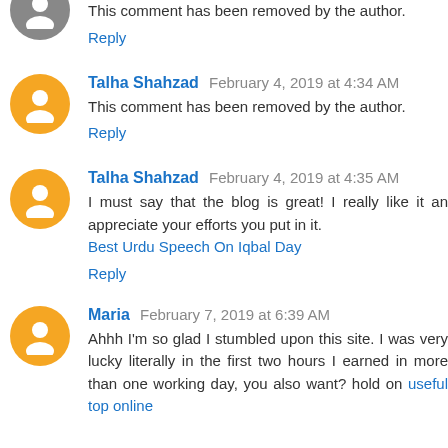This comment has been removed by the author.
Reply
Talha Shahzad February 4, 2019 at 4:34 AM
This comment has been removed by the author.
Reply
Talha Shahzad February 4, 2019 at 4:35 AM
I must say that the blog is great! I really like it an appreciate your efforts you put in it. Best Urdu Speech On Iqbal Day
Reply
Maria February 7, 2019 at 6:39 AM
Ahhh I'm so glad I stumbled upon this site. I was very lucky literally in the first two hours I earned in more than one working day, you also want? hold on useful top online